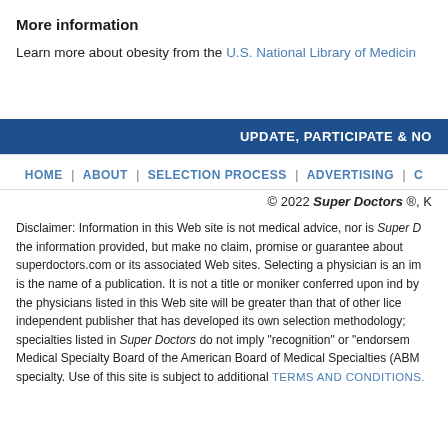More information
Learn more about obesity from the U.S. National Library of Medicine
UPDATE, PARTICIPATE & NO
HOME | ABOUT | SELECTION PROCESS | ADVERTISING |
© 2022 Super Doctors ®, K
Disclaimer: Information in this Web site is not medical advice, nor is Super D the information provided, but make no claim, promise or guarantee about superdoctors.com or its associated Web sites. Selecting a physician is an im is the name of a publication. It is not a title or moniker conferred upon ind by the physicians listed in this Web site will be greater than that of other lice independent publisher that has developed its own selection methodology; specialties listed in Super Doctors do not imply "recognition" or "endorsem Medical Specialty Board of the American Board of Medical Specialties (ABM specialty. Use of this site is subject to additional TERMS AND CONDITIONS.